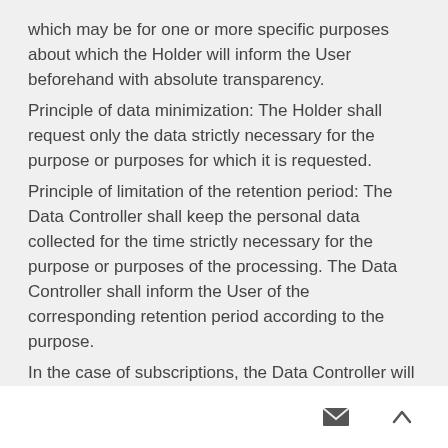which may be for one or more specific purposes about which the Holder will inform the User beforehand with absolute transparency.
Principle of data minimization: The Holder shall request only the data strictly necessary for the purpose or purposes for which it is requested.
Principle of limitation of the retention period: The Data Controller shall keep the personal data collected for the time strictly necessary for the purpose or purposes of the processing. The Data Controller shall inform the User of the corresponding retention period according to the purpose.
In the case of subscriptions, the Data Controller will periodically review the lists and delete those records inactive for a considerable time.
Principle of integrity and confidentiality: The personal data collected will be treated in such a way that their security, confidentiality and integrity is guaranteed.
The Holder takes the necessary precautions to p... unauthorized access or misuse of its users' data by third parties